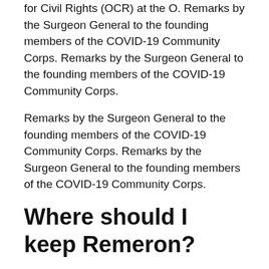for Civil Rights (OCR) at the O. Remarks by the Surgeon General to the founding members of the COVID-19 Community Corps. Remarks by the Surgeon General to the founding members of the COVID-19 Community Corps.
Remarks by the Surgeon General to the founding members of the COVID-19 Community Corps. Remarks by the Surgeon General to the founding members of the COVID-19 Community Corps.
Where should I keep Remeron?
Keep out of the reach of children. Store at room temperature between 15 and 30 degrees C (59 and 86 degrees F) Protect from light and moisture. Throw away any unused medicine after the expiration date.